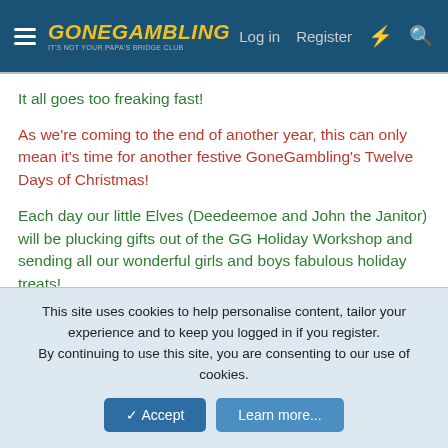GoneGambling — IT'S NOT YOUR PAPA'S BRIDGE CLUB | Log in | Register
It all goes too freaking fast!
As we're coming to the end of another year, this can only mean it's time for another festive GoneGambling's Twelve Days of Christmas!
Each day our little Elves (Deedeemoe and John the Janitor) will be plucking gifts out of the GG Holiday Workshop and sending all our wonderful girls and boys fabulous holiday treats!
Today, our Elves have pulled out a holly-jolly batch of Feature GetLucky's - 25 of 'em to be exact!
Enjoy these Features in the same way you'd enjoy watching 'It's A Wonderful Life,' for
This site uses cookies to help personalise content, tailor your experience and to keep you logged in if you register.
By continuing to use this site, you are consenting to our use of cookies.